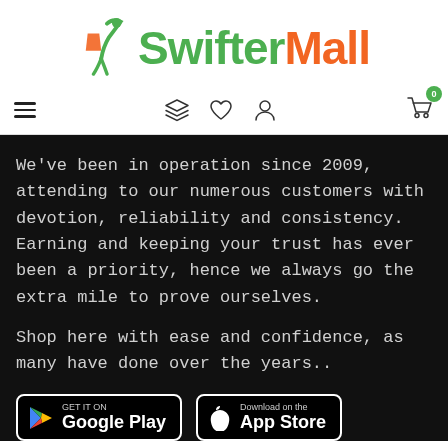[Figure (logo): SwifterMall logo with green person/bag icon and text 'SwifterMall' in green and orange]
[Figure (screenshot): Navigation bar with hamburger menu, layers icon, heart icon, user icon, and cart icon with 0 badge]
We've been in operation since 2009, attending to our numerous customers with devotion, reliability and consistency. Earning and keeping your trust has ever been a priority, hence we always go the extra mile to prove ourselves.
Shop here with ease and confidence, as many have done over the years..
[Figure (screenshot): Google Play and App Store download buttons on dark background]
[Figure (other): Green diamond scroll-to-top button with up arrow]
Prices may change without notice. Also, product images are illustrative, manufacturer's design may change.